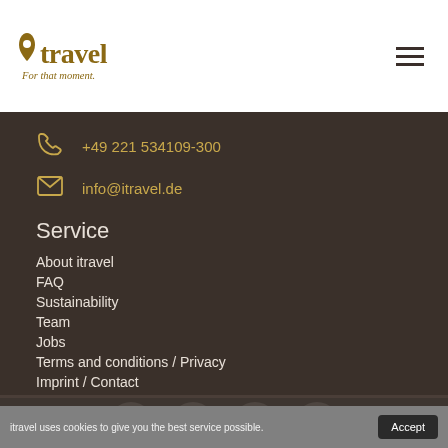[Figure (logo): itravel logo with 'For that moment.' tagline]
+49 221 534109-300
info@itravel.de
Service
About itravel
FAQ
Sustainability
Team
Jobs
Terms and conditions / Privacy
Imprint / Contact
[Figure (illustration): Social media icons: Facebook, Twitter, Instagram, Pinterest]
itravel uses cookies to give you the best service possible.